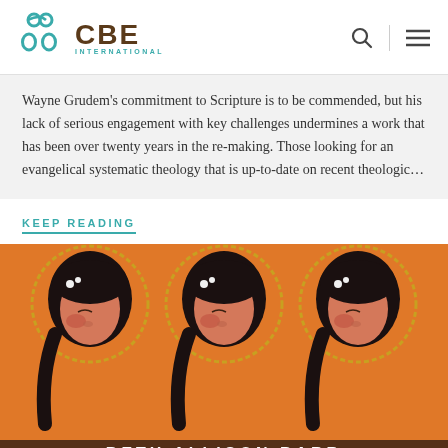CBE INTERNATIONAL
Wayne Grudem’s commitment to Scripture is to be commended, but his lack of serious engagement with key challenges undermines a work that has been over twenty years in the re-making. Those looking for an evangelical systematic theology that is up-to-date on recent theologic…
KEEP READING
[Figure (photo): Book cover showing three repeated images of a woman with braided hair on an orange background, with text 'BETH ALLISON BARR' at the bottom]